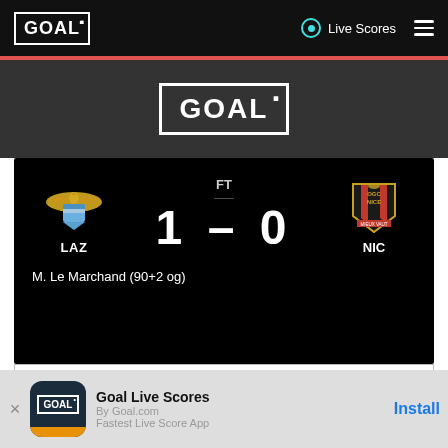GOAL | Live Scores
[Figure (logo): GOAL logo large white on dark grey background]
[Figure (infographic): Match result card: LAZ 1 - 0 NIC, FT, M. Le Marchand (90+2 og)]
DETAILS
Goal Live Scores | By Goal.com | Fastest Live Score App | Install